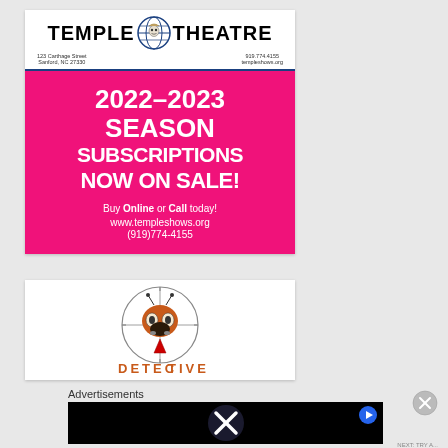[Figure (logo): Temple Theatre logo with globe icon, address and contact information]
[Figure (infographic): Pink background advertisement: 2022-2023 Season Subscriptions Now On Sale! Buy Online or Call today! www.templeshows.org (919)774-4155]
[Figure (illustration): White card with cartoon beetle/ladybug mascot in a sniper crosshair scope circle, with partial text at bottom]
Advertisements
[Figure (screenshot): Black video advertisement banner with X logo and blue play button triangle in top right]